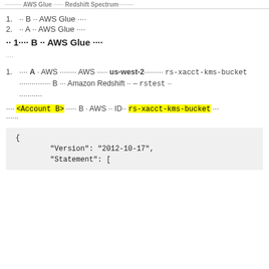AWS Glue  Redshift Spectrum
B  AWS Glue
A  AWS Glue
1 B  AWS Glue
A  AWS  AWS  us-west-2  rs-xacct-kms-bucket  B  Amazon Redshift  – rstest
<Account B>  B  AWS  ID  rs-xacct-kms-bucket
{
    "Version": "2012-10-17",
    "Statement": [